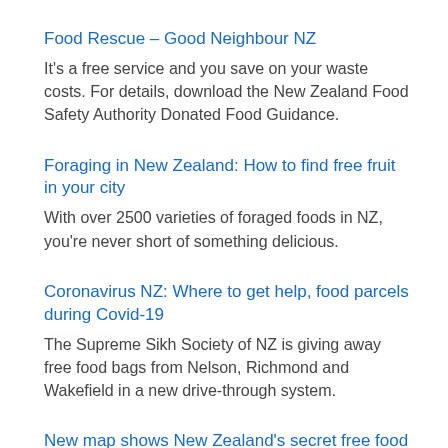Food Rescue – Good Neighbour NZ
It's a free service and you save on your waste costs. For details, download the New Zealand Food Safety Authority Donated Food Guidance.
Foraging in New Zealand: How to find free fruit in your city
With over 2500 varieties of foraged foods in NZ, you're never short of something delicious.
Coronavirus NZ: Where to get help, food parcels during Covid-19
The Supreme Sikh Society of NZ is giving away free food bags from Nelson, Richmond and Wakefield in a new drive-through system.
New map shows New Zealand's secret free food
The New Zealand Fruit and Food Share Map on Google